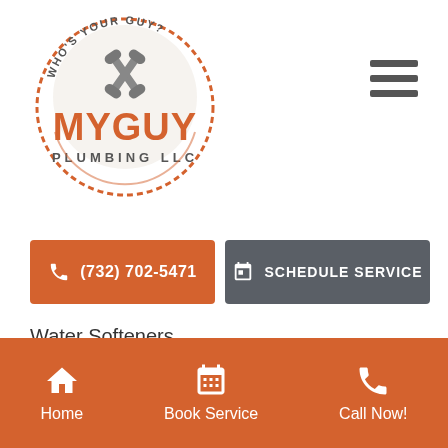[Figure (logo): MyGuy Plumbing LLC logo - circular badge with crossed wrenches and text WHO'S YOUR GUY? around the top, MYGUY in large orange letters, PLUMBING LLC beneath]
[Figure (other): Hamburger menu icon - three horizontal lines]
(732) 702-5471
SCHEDULE SERVICE
Water Softeners
[Figure (logo): Expertise.com badge with teal diamond logo, laurel wreath, and text 'Best Plumbers in']
Home
Book Service
Call Now!